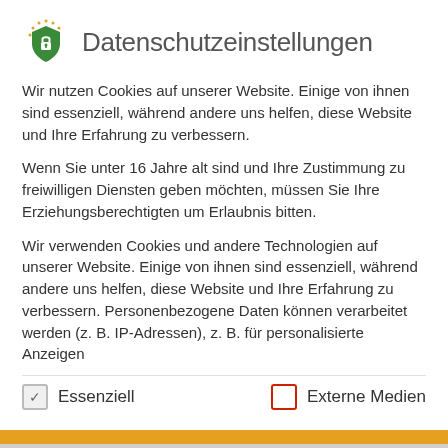Datenschutzeinstellungen
Wir nutzen Cookies auf unserer Website. Einige von ihnen sind essenziell, während andere uns helfen, diese Website und Ihre Erfahrung zu verbessern.
Wenn Sie unter 16 Jahre alt sind und Ihre Zustimmung zu freiwilligen Diensten geben möchten, müssen Sie Ihre Erziehungsberechtigten um Erlaubnis bitten.
Wir verwenden Cookies und andere Technologien auf unserer Website. Einige von ihnen sind essenziell, während andere uns helfen, diese Website und Ihre Erfahrung zu verbessern. Personenbezogene Daten können verarbeitet werden (z. B. IP-Adressen), z. B. für personalisierte Anzeigen
Essenziell
Externe Medien
Once the deadline on 23 September 2020 is reached, all completed submissions will be evaluated by an international jury board, based on the degree of